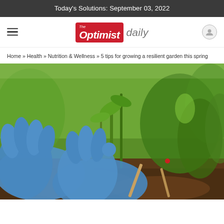Today's Solutions: September 03, 2022
[Figure (logo): The Optimist Daily logo — red box with white italic text 'The Optimist' and gray italic 'daily']
Home » Health » Nutrition & Wellness » 5 tips for growing a resilient garden this spring
[Figure (photo): Person wearing blue latex gloves tending to a vegetable garden bed with green plants and dark soil, using gardening tools]